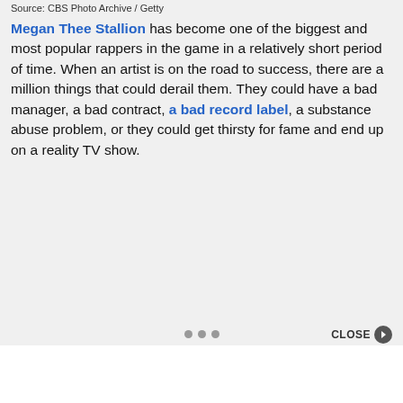Source: CBS Photo Archive / Getty
Megan Thee Stallion has become one of the biggest and most popular rappers in the game in a relatively short period of time. When an artist is on the road to success, there are a million things that could derail them. They could have a bad manager, a bad contract, a bad record label, a substance abuse problem, or they could get thirsty for fame and end up on a reality TV show.